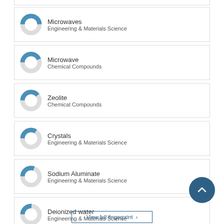Microwaves — Engineering & Materials Science
Microwave — Chemical Compounds
Zeolite — Chemical Compounds
Crystals — Engineering & Materials Science
Sodium Aluminate — Engineering & Materials Science
Deionized water — Engineering & Materials Science
View full fingerprint >